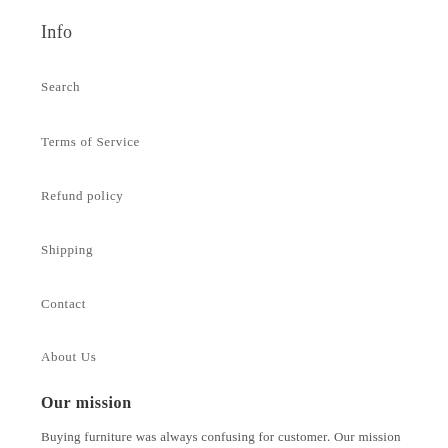Info
Search
Terms of Service
Refund policy
Shipping
Contact
About Us
Our mission
Buying furniture was always confusing for customer. Our mission is to make it 100% safe, reliable and